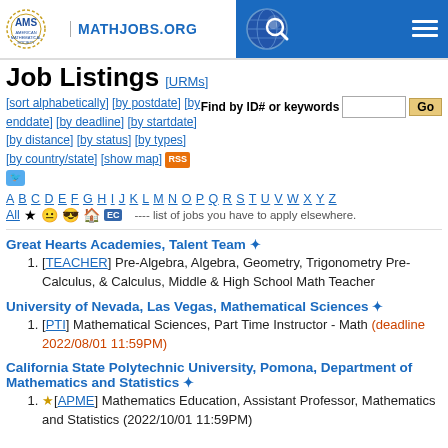AMS American Mathematical Society MATHJOBS.ORG
Job Listings [URMs]
[sort alphabetically] [by postdate] [by enddate] [by deadline] [by startdate] [by distance] [by status] [by types] [by country/state] [show map] [RSS] [Twitter]
Find by ID# or keywords [input] Go
A B C D E F G H I J K L M N O P Q R S T U V W X Y Z All ---- list of jobs you have to apply elsewhere.
Great Hearts Academies, Talent Team ✦
1. [TEACHER] Pre-Algebra, Algebra, Geometry, Trigonometry Pre-Calculus, & Calculus, Middle & High School Math Teacher
University of Nevada, Las Vegas, Mathematical Sciences ✦
1. [PTI] Mathematical Sciences, Part Time Instructor - Math (deadline 2022/08/01 11:59PM)
California State Polytechnic University, Pomona, Department of Mathematics and Statistics ✦
1. ☆[APME] Mathematics Education, Assistant Professor, Mathematics and Statistics (2022/10/01 11:59PM)